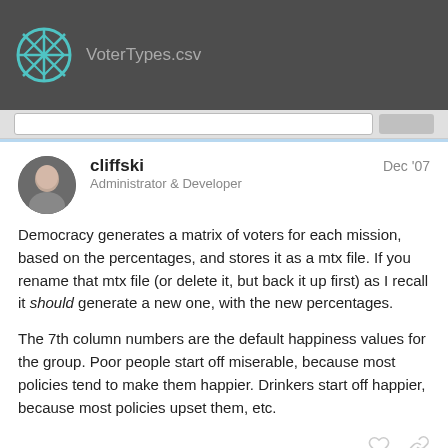VoterTypes.csv
cliffski
Administrator & Developer
Dec '07
Democracy generates a matrix of voters for each mission, based on the percentages, and stores it as a mtx file. If you rename that mtx file (or delete it, but back it up first) as I recall it should generate a new one, with the new percentages.

The 7th column numbers are the default happiness values for the group. Poor people start off miserable, because most policies tend to make them happier. Drinkers start off happier, because most policies upset them, etc.
1 / 4
Vercingetorix